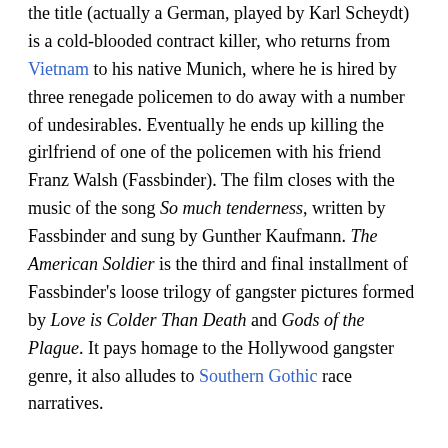the title (actually a German, played by Karl Scheydt) is a cold-blooded contract killer, who returns from Vietnam to his native Munich, where he is hired by three renegade policemen to do away with a number of undesirables. Eventually he ends up killing the girlfriend of one of the policemen with his friend Franz Walsh (Fassbinder). The film closes with the music of the song So much tenderness, written by Fassbinder and sung by Gunther Kaufmann. The American Soldier is the third and final installment of Fassbinder's loose trilogy of gangster pictures formed by Love is Colder Than Death and Gods of the Plague. It pays homage to the Hollywood gangster genre, it also alludes to Southern Gothic race narratives.
The Niklashausen Journey (1970)
In The Niklashausen Journey (Die Niklashauser Fahrt), Fassbinder co-writes and co-directs with Michael Fengler. This avant-garde film, commissioned by the WDR television network, was shot in May 1970 and it was broadcast in October the same year.[36] The Niklashausen Journey was loosely based on the real-life of Hans Boehm, a shepherd who in 1476 claimed that the Virgin Mary called him to f...